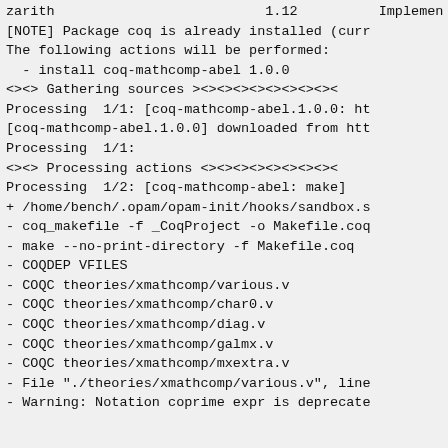zarith                          1.12          Implemen
[NOTE] Package coq is already installed (curr
The following actions will be performed:
  - install coq-mathcomp-abel 1.0.0
<><> Gathering sources ><><><><><><><><><><><
Processing  1/1: [coq-mathcomp-abel.1.0.0: ht
[coq-mathcomp-abel.1.0.0] downloaded from htt
Processing  1/1:
<><> Processing actions <><><><><><><><><><><
Processing  1/2: [coq-mathcomp-abel: make]
+ /home/bench/.opam/opam-init/hooks/sandbox.s
- coq_makefile -f _CoqProject -o Makefile.coq
- make --no-print-directory -f Makefile.coq
- COQDEP VFILES
- COQC theories/xmathcomp/various.v
- COQC theories/xmathcomp/char0.v
- COQC theories/xmathcomp/diag.v
- COQC theories/xmathcomp/galmx.v
- COQC theories/xmathcomp/mxextra.v
- File "./theories/xmathcomp/various.v", line
- Warning: Notation coprime expr is deprecate